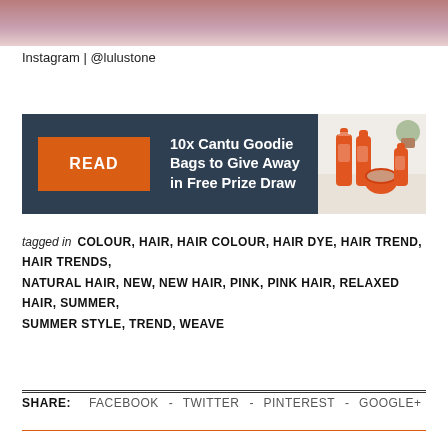[Figure (photo): Partial photo of a person with pink curly hair, cropped at top of page]
Instagram | @lulustone
[Figure (infographic): Advertisement banner: dark navy background with orange READ button, white text '10x Cantu Goodie Bags to Give Away in Free Prize Draw', and product image on right showing Cantu hair care products]
tagged in COLOUR, HAIR, HAIR COLOUR, HAIR DYE, HAIR TREND, HAIR TRENDS, NATURAL HAIR, NEW, NEW HAIR, PINK, PINK HAIR, RELAXED HAIR, SUMMER, SUMMER STYLE, TREND, WEAVE
SHARE: FACEBOOK - TWITTER - PINTEREST - GOOGLE+